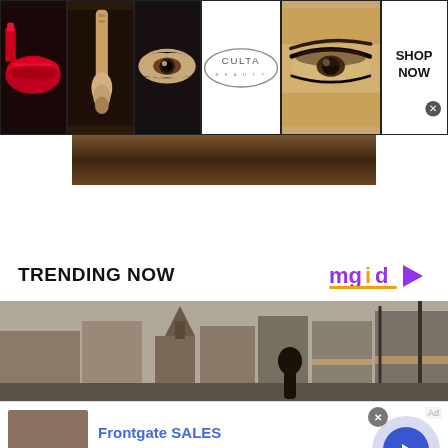[Figure (advertisement): Ulta Beauty banner ad showing makeup images: red lips, makeup brush, eye with makeup, Ulta Beauty logo, model with dramatic eye makeup, and SHOP NOW button with close icon]
[Figure (photo): Partial brown/dark image below Ulta banner, appears to be a crop of a lifestyle or product photo]
TRENDING NOW
[Figure (logo): mgid logo with orange 'i' and purple play triangle icon]
[Figure (photo): Street scene with buildings, church steeple, storefronts, utility poles, and a person in the foreground]
[Figure (advertisement): Frontgate SALES advertisement with outdoor furniture thumbnail image, title 'Frontgate SALES', subtitle 'up to 50% off', URL 'frontgate.com', close button X, and blue circular arrow navigation button]